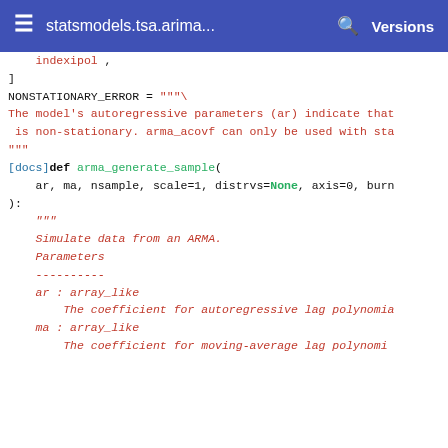statsmodels.tsa.arima...   Versions
indexipol ,
]


NONSTATIONARY_ERROR = """\
The model's autoregressive parameters (ar) indicate that
 is non-stationary. arma_acovf can only be used with sta
"""


[docs]def arma_generate_sample(
    ar, ma, nsample, scale=1, distrvs=None, axis=0, burn
):
    """
    Simulate data from an ARMA.

    Parameters
    ----------
    ar : array_like
        The coefficient for autoregressive lag polynomia
    ma : array_like
        The coefficient for moving-average lag polynomi